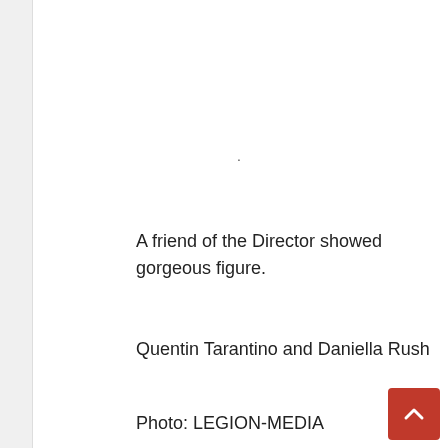A friend of the Director showed gorgeous figure.
Quentin Tarantino and Daniella Rush
Photo: LEGION-MEDIA
On the days the paparazzi managed to “detect” one of the extremely rare joint appearances by Quentin Tarantino and his favorite – a 32-year-old Israeli singer Danielle Peak. The other day he came to her in one of the fashion restaurants Los Angeles. For a romantic